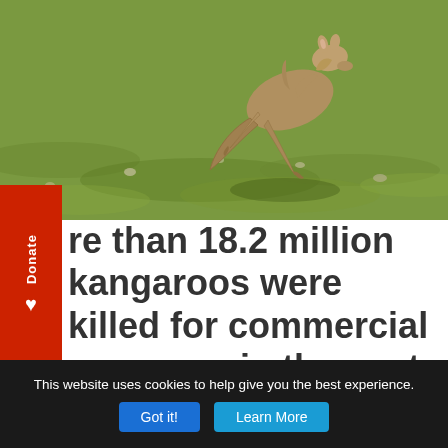[Figure (photo): A kangaroo leaping mid-air over a green grassy field in Australia, photographed from behind/side. Sunlit grassland background.]
More than 18.2 million kangaroos were killed for commercial purposes in the past decade, causing major issues for Australia's ecological
This website uses cookies to help give you the best experience.